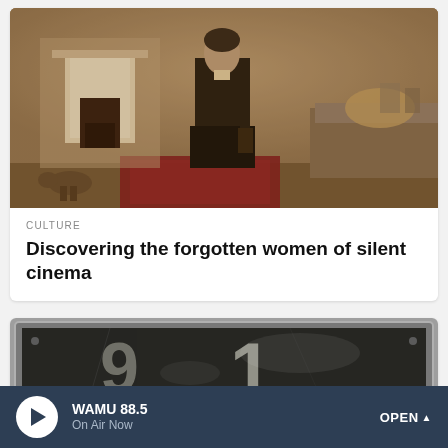[Figure (photo): Sepia-toned vintage photograph of a person standing in an ornate Victorian-era interior room with fireplace, patterned wallpaper, and furniture. A dog is visible in the lower left.]
CULTURE
Discovering the forgotten women of silent cinema
[Figure (photo): Close-up photograph of an old black metal license plate or number plate showing the numerals '9' on the left and '1' in the center, with a weathered, worn surface.]
WAMU 88.5 On Air Now OPEN ^